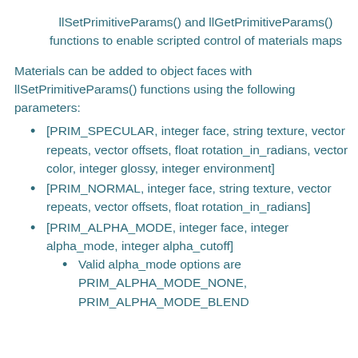llSetPrimitiveParams() and llGetPrimitiveParams() functions to enable scripted control of materials maps
Materials can be added to object faces with llSetPrimitiveParams() functions using the following parameters:
[PRIM_SPECULAR, integer face, string texture, vector repeats, vector offsets, float rotation_in_radians, vector color, integer glossy, integer environment]
[PRIM_NORMAL, integer face, string texture, vector repeats, vector offsets, float rotation_in_radians]
[PRIM_ALPHA_MODE, integer face, integer alpha_mode, integer alpha_cutoff]
Valid alpha_mode options are PRIM_ALPHA_MODE_NONE, PRIM_ALPHA_MODE_BLEND